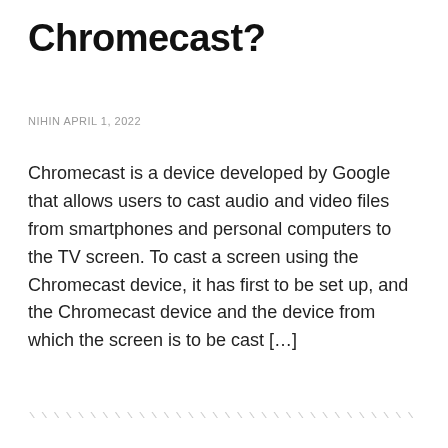Chromecast?
NIHIN APRIL 1, 2022
Chromecast is a device developed by Google that allows users to cast audio and video files from smartphones and personal computers to the TV screen. To cast a screen using the Chromecast device, it has first to be set up, and the Chromecast device and the device from which the screen is to be cast […]